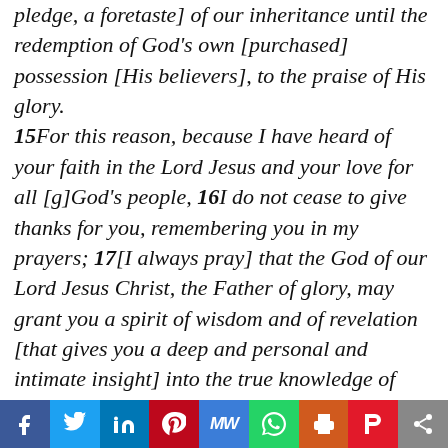pledge, a foretaste] of our inheritance until the redemption of God's own [purchased] possession [His believers], to the praise of His glory. 15For this reason, because I have heard of your faith in the Lord Jesus and your love for all [g]God's people, 16I do not cease to give thanks for you, remembering you in my prayers; 17[I always pray] that the God of our Lord Jesus Christ, the Father of glory, may grant you a spirit of wisdom and of revelation [that gives you a deep and personal and intimate insight] into the true knowledge of Him [for we know the Father through the Son]. 18And [I pray] that the eyes of your heart [the very center and core of your being] may be enlightened [flooded with light by the Holy Spirit], so that you will know
[Figure (other): Social sharing bar with buttons: Facebook (f), Twitter (bird), LinkedIn (in), Pinterest (P), MeWe (MW), WhatsApp (phone), Print (printer), Parler (P), Share (<)]